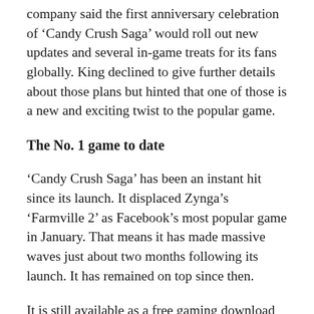company said the first anniversary celebration of 'Candy Crush Saga' would roll out new updates and several in-game treats for its fans globally. King declined to give further details about those plans but hinted that one of those is a new and exciting twist to the popular game.
The No. 1 game to date
'Candy Crush Saga' has been an instant hit since its launch. It displaced Zynga's 'Farmville 2' as Facebook's most popular game in January. That means it has made massive waves just about two months following its launch. It has remained on top since then.
It is still available as a free gaming download through iTunes App Store, Amazon Appstore, and